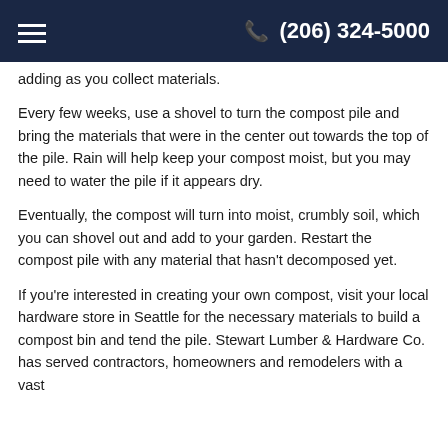(206) 324-5000
adding as you collect materials.
Every few weeks, use a shovel to turn the compost pile and bring the materials that were in the center out towards the top of the pile. Rain will help keep your compost moist, but you may need to water the pile if it appears dry.
Eventually, the compost will turn into moist, crumbly soil, which you can shovel out and add to your garden. Restart the compost pile with any material that hasn't decomposed yet.
If you're interested in creating your own compost, visit your local hardware store in Seattle for the necessary materials to build a compost bin and tend the pile. Stewart Lumber & Hardware Co. has served contractors, homeowners and remodelers with a vast